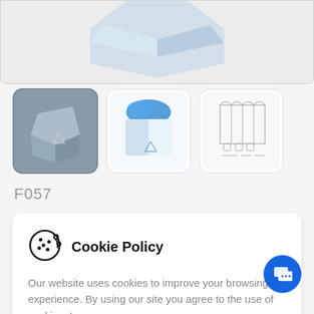[Figure (photo): Top product image area showing a 3D box/packaging product on light grey background, partially cropped]
[Figure (photo): Thumbnail row with three product images: first selected (dark grey background, 3D box render), second (blue and white 3D box), third (flat line-drawing/die-cut template of box)]
F057
Cookie Policy

Our website uses cookies to improve your browsing experience. By using our site you agree to the use of cookies. Learn more.

Close
Can be assembled by hand with ease